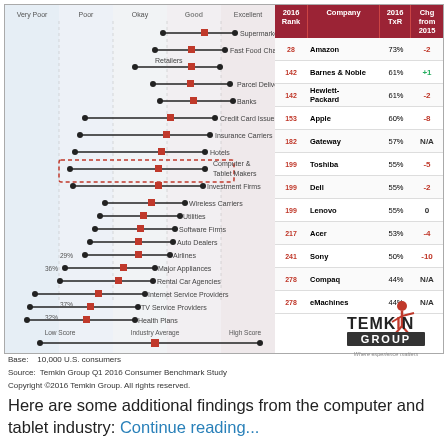[Figure (infographic): Dot-plot chart showing industry satisfaction scores across categories (Very Poor to Excellent), with Computer & Tablet Makers highlighted in red dashed box. Left side shows range bars for each industry sector. Right side shows table of computer companies ranked by 2016 TxR score.]
| 2016 Rank | Company | 2016 TxR | Chg from 2015 |
| --- | --- | --- | --- |
| 28 | Amazon | 73% | -2 |
| 142 | Barnes & Noble | 61% | +1 |
| 142 | Hewlett-Packard | 61% | -2 |
| 153 | Apple | 60% | -8 |
| 182 | Gateway | 57% | N/A |
| 199 | Toshiba | 55% | -5 |
| 199 | Dell | 55% | -2 |
| 199 | Lenovo | 55% | 0 |
| 217 | Acer | 53% | -4 |
| 241 | Sony | 50% | -10 |
| 278 | Compaq | 44% | N/A |
| 278 | eMachines | 44% | N/A |
Base: 10,000 U.S. consumers
Source: Temkin Group Q1 2016 Consumer Benchmark Study
Copyright ©2016 Temkin Group. All rights reserved.
Here are some additional findings from the computer and tablet industry: Continue reading...